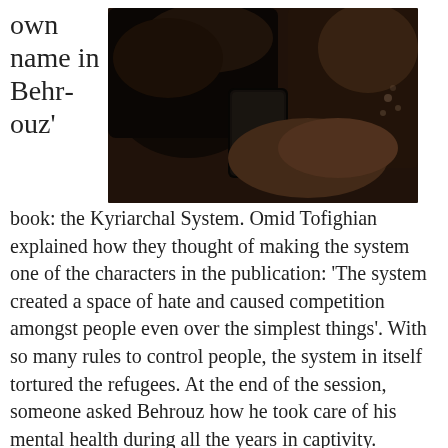own name in Behrouz'
[Figure (photo): Close-up photo of two people, one with dark hair looking down at a phone/device, taken in a dimly lit setting.]
book: the Kyriarchal System. Omid Tofighian explained how they thought of making the system one of the characters in the publication: 'The system created a space of hate and caused competition amongst people even over the simplest things'. With so many rules to control people, the system in itself tortured the refugees. At the end of the session, someone asked Behrouz how he took care of his mental health during all the years in captivity. 'Nobody asked me this question before', he answered. It was sad to hear how he had damaged his body to keep his mind strong. Keeping his privacy by staying silent in an environment where there are always people around and everyone is either sad, upset or angry was another thing to stay sane. 'If you